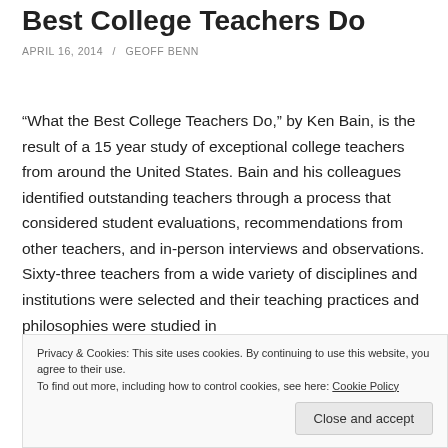Best College Teachers Do
APRIL 16, 2014  /  GEOFF BENN
“What the Best College Teachers Do,” by Ken Bain, is the result of a 15 year study of exceptional college teachers from around the United States. Bain and his colleagues identified outstanding teachers through a process that considered student evaluations, recommendations from other teachers, and in-person interviews and observations. Sixty-three teachers from a wide variety of disciplines and institutions were selected and their teaching practices and philosophies were studied in
Privacy & Cookies: This site uses cookies. By continuing to use this website, you agree to their use.
To find out more, including how to control cookies, see here: Cookie Policy
Close and accept